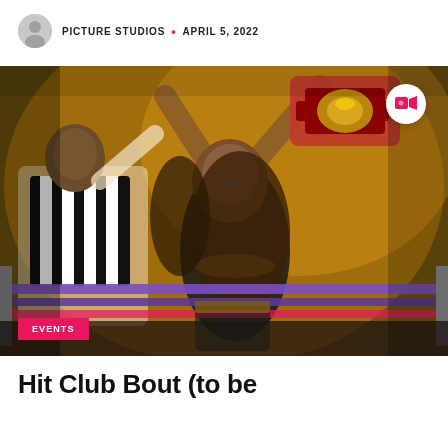PICTURE STUDIOS • APRIL 5, 2022
[Figure (photo): A female wrestler holding a championship belt above her head in a wrestling ring, celebrating a victory. A referee in a black-and-white striped shirt stands beside her. The scene is lit with warm golden-orange lighting. Purple ring ropes are visible in the foreground. A pink/red championship belt is raised high.]
EVENTS
Hit Club Bout (to be